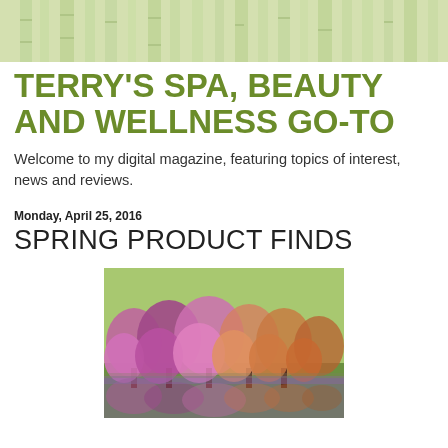[Figure (photo): Bamboo forest background header image in light green tones]
TERRY'S SPA, BEAUTY AND WELLNESS GO-TO
Welcome to my digital magazine, featuring topics of interest, news and reviews.
Monday, April 25, 2016
SPRING PRODUCT FINDS
[Figure (photo): Spring blooming trees with pink and purple blossoms reflected in a lake or pond]